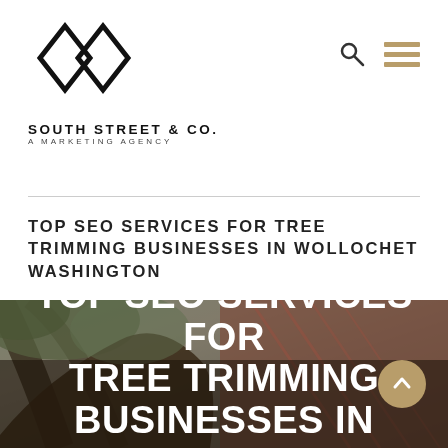[Figure (logo): South Street & Co. logo with two overlapping diamond shapes above the text]
SOUTH STREET & CO.
A MARKETING AGENCY
TOP SEO SERVICES FOR TREE TRIMMING BUSINESSES IN WOLLOCHET WASHINGTON
[Figure (photo): Hero image showing trees with large curved trunks against a red metal roof building, with overlay text]
TOP SEO SERVICES FOR TREE TRIMMING BUSINESSES IN